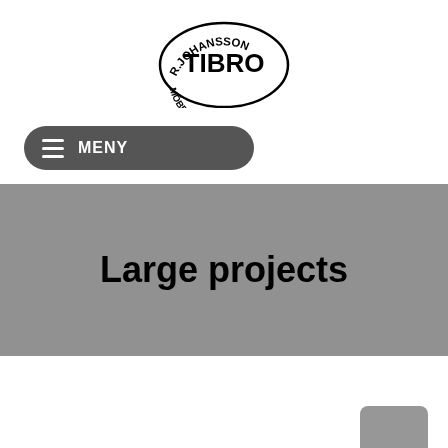[Figure (logo): R.Johansson Tibro Möbeltransporter circular logo with bold TIBRO text in center]
[Figure (other): Dark gray rounded rectangle navigation menu bar with hamburger icon and MENY text]
Large projects
BROCHURE DOWNLOAD
[Figure (other): Small gray square/button element]